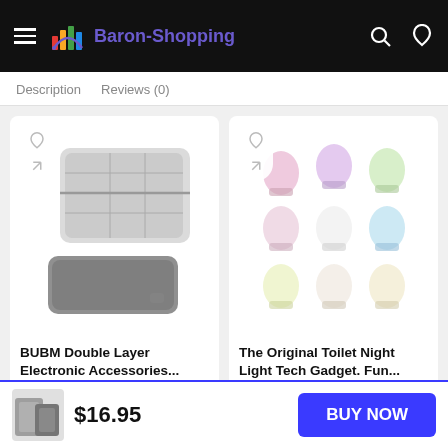Baron-Shopping
Description   Reviews (0)
[Figure (photo): BUBM Double Layer Electronic Accessories organizer case product image]
BUBM Double Layer Electronic Accessories...
[Figure (photo): The Original Toilet Night Light Tech Gadget product image showing multiple color variants]
The Original Toilet Night Light Tech Gadget. Fun...
$16.95   BUY NOW